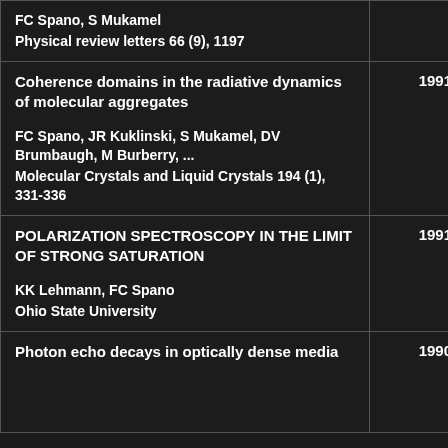| Title / Authors / Journal | Year |
| --- | --- |
| FC Spano, S Mukamel
Physical review letters 66 (9), 1197 |  |
| Coherence domains in the radiative dynamics of molecular aggregates

FC Spano, JR Kuklinski, S Mukamel, DV Brumbaugh, M Burberry, ...
Molecular Crystals and Liquid Crystals 194 (1), 331-336 | 1991 |
| POLARIZATION SPECTROSCOPY IN THE LIMIT OF STRONG SATURATION

KK Lehmann, FC Spano
Ohio State University | 1991 |
| Photon echo decays in optically dense media | 1990 |